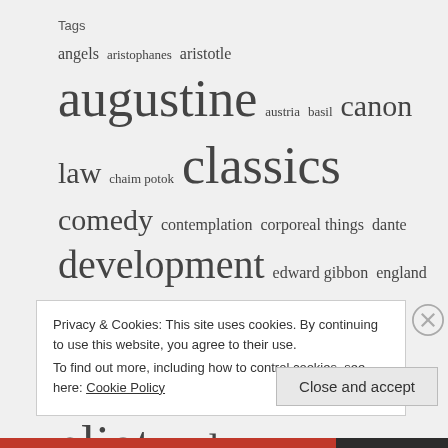Tags
angels aristophanes aristotle augustine austria basil canon law chaim potok classics comedy contemplation corporeal things dante development edward gibbon england evelyn waugh false gods florence france george eliot gods henrik ibsen heresy history honore de balzac ishiguro islam ismail kadare italy jane austen jerome jerusalem jon oldham journal
Privacy & Cookies: This site uses cookies. By continuing to use this website, you agree to their use.
To find out more, including how to control cookies, see here: Cookie Policy